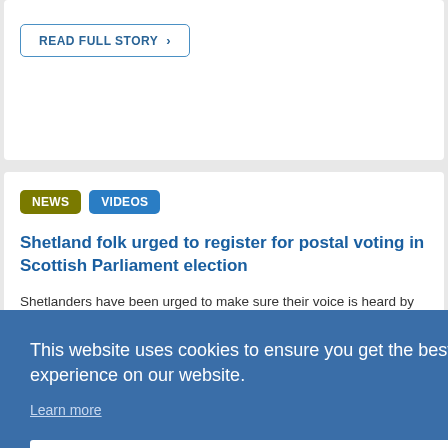READ FULL STORY >
NEWS
VIDEOS
Shetland folk urged to register for postal voting in Scottish Parliament election
Shetlanders have been urged to make sure their voice is heard by ... etland
This website uses cookies to ensure you get the best experience on our website.
Learn more
Got it!